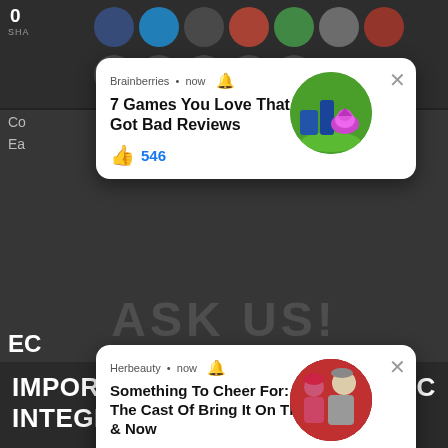[Figure (screenshot): Web page screenshot showing a dark background article page with social share icons at top showing '0 SHARE', and bold heading 'IMPORTANCE OF ECONOMIC INTEGRATION' at the bottom. Two ad notification cards overlay the page: one from Brainberries titled '7 Games You Love That Got Bad Reviews' with 546 likes showing Spyro game image, and one from Herbeauty titled 'Something To Cheer For: See The Cast Of Bring It On Then & Now' with 105 likes showing a photo of people. A teal 'TAP HERE TO ASK:' button and 'No Thanks!' text are also visible. Background partially visible text includes 'even develop common infrastructures which includes railways, communica...rks, common tariffs, etc'.]